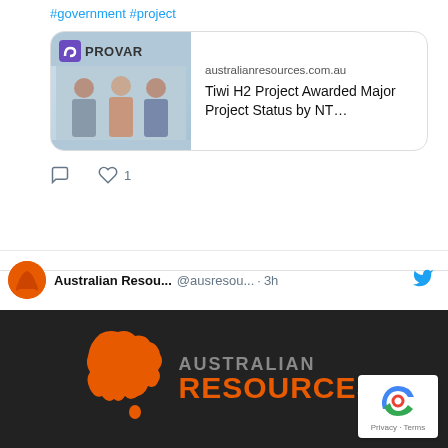#government #project
[Figure (screenshot): Link card showing australianresources.com.au with headline 'Tiwi H2 Project Awarded Major Project Status by NT...' and thumbnail image of three people with Provar logo]
comment icon, heart icon 1
Australian Resou... @ausresou... · 3h
[Figure (logo): Australian Resources logo - orange Australia map silhouette with text AUSTRALIAN RESOURCES on dark background, and reCAPTCHA badge in corner with Privacy - Terms]